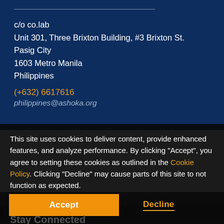c/o co.lab
Unit 301, Three Brixton Building, #3 Brixton St.
Pasig City
1603 Metro Manila
Philippines
(+632) 6617616
philippines@ashoka.org
This site uses cookies to deliver content, provide enhanced features, and analyze performance. By clicking "Accept", you agree to setting these cookies as outlined in the Cookie Policy. Clicking "Decline" may cause parts of this site to not function as expected.
Learn More
Accept
Decline
Stay Connected